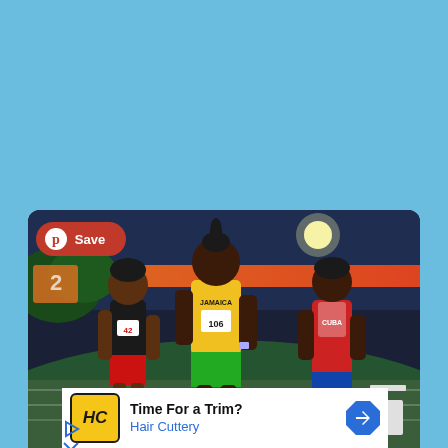[Figure (photo): Track and field race photo showing three female athletes running at night. The center athlete wears a yellow-green Jamaica uniform with bib number 106. The left athlete wears a black uniform with red accents (bib 42). The right athlete wears a red and white Cuba uniform. A red Pinterest 'Save' button overlays the top-left of the image.]
[Figure (screenshot): Advertisement banner for Hair Cuttery. Shows the Hair Cuttery logo (HC in yellow background), the text 'Time For a Trim?' in bold black, 'Hair Cuttery' in blue, and a blue navigation arrow icon on the right. Below are play and close icon buttons.]